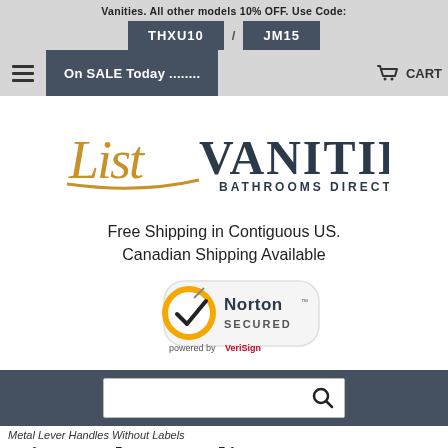Vanities. All other models 10% OFF. Use Code: THXU10 / JM15
On SALE Today ......... CART
[Figure (logo): ListVanities Bathrooms Direct logo with decorative script and serif text]
Free Shipping in Contiguous US. Canadian Shipping Available
[Figure (logo): Norton Secured powered by VeriSign badge]
[Figure (screenshot): Search bar with magnifying glass icon]
Metal Lever Handles Without Labels